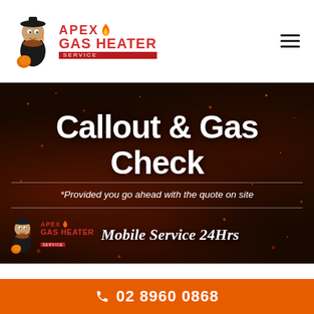[Figure (logo): Apex Gas Heater Service logo with mascot character, red text, and flame icon]
[Figure (screenshot): Dark hero banner with fire/embers background showing 'Callout & Gas Check' heading, subtitle '*Provided you go ahead with the quote on site', Apex Gas Heater logo, and 'Mobile Service 24Hrs' text]
02 8960 0868